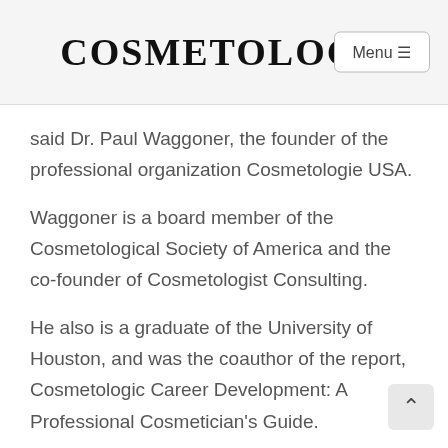COSMETOLOGY
said Dr. Paul Waggoner, the founder of the professional organization Cosmetologie USA.
Waggoner is a board member of the Cosmetological Society of America and the co-founder of Cosmetologist Consulting.
He also is a graduate of the University of Houston, and was the coauthor of the report, Cosmetologic Career Development: A Professional Cosmetician's Guide.